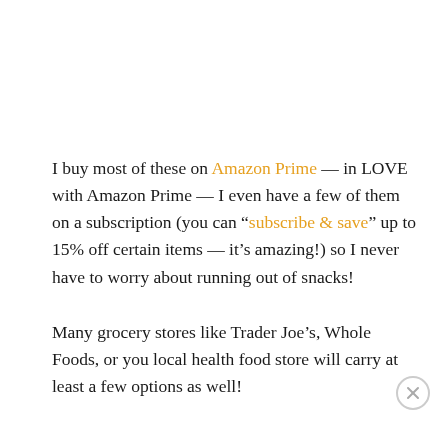I buy most of these on Amazon Prime — in LOVE with Amazon Prime — I even have a few of them on a subscription (you can "subscribe & save" up to 15% off certain items — it's amazing!) so I never have to worry about running out of snacks!
Many grocery stores like Trader Joe's, Whole Foods, or you local health food store will carry at least a few options as well!